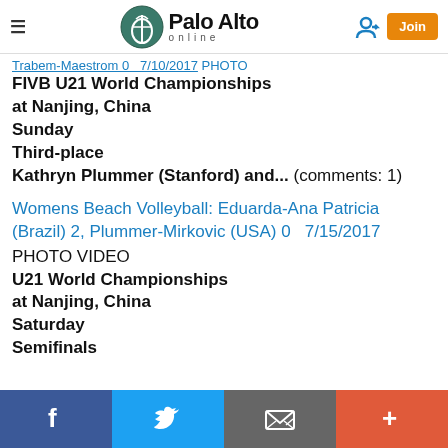Palo Alto online
Trabem-Maestrom 0   7/10/2017 PHOTO
FIVB U21 World Championships
at Nanjing, China
Sunday
Third-place
Kathryn Plummer (Stanford) and... (comments: 1)
Womens Beach Volleyball: Eduarda-Ana Patricia (Brazil) 2, Plummer-Mirkovic (USA) 0   7/15/2017
PHOTO VIDEO
U21 World Championships
at Nanjing, China
Saturday
Semifinals
f  Twitter  Email  +